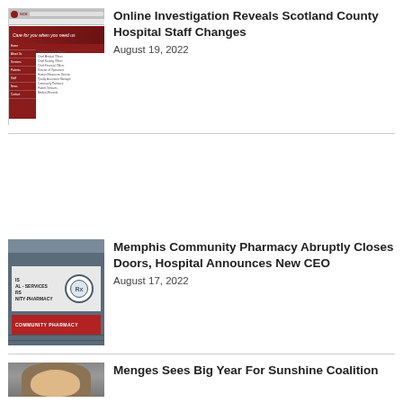[Figure (screenshot): SCH Scotland County Hospital website screenshot showing About Us page with leadership information]
Online Investigation Reveals Scotland County Hospital Staff Changes
August 19, 2022
[Figure (photo): Memphis Community Pharmacy sign on brick building showing circular SCH logo and Rx mortar and pestle]
Memphis Community Pharmacy Abruptly Closes Doors, Hospital Announces New CEO
August 17, 2022
[Figure (photo): Portrait photo of a person with long hair for Menges article]
Menges Sees Big Year For Sunshine Coalition